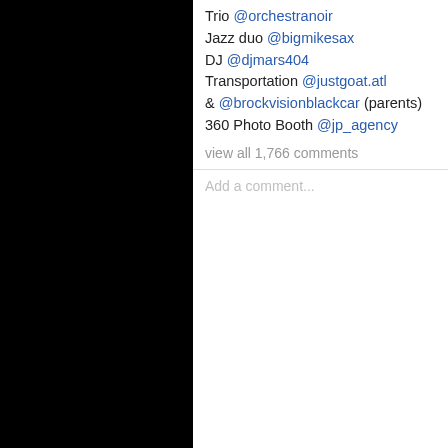Trio @orchestranoir
Jazz duo @bigmikesax
DJ @djmars404
Transportation @justgoat.atl
& @brockvisionblackcar (parents)
360 Photo Booth @jp_agency
view all 1,766 comments
Add a comment...
Posted by Rhymes With Snitch at 10:45 AM
Labels: Monyetta Shaw, Music, Ne-Yo, Reality TV
14 comments:
Anonymous said...
Monyetta is one of those stupid names. And.. hope this guy already has all the kids
10:55 AM